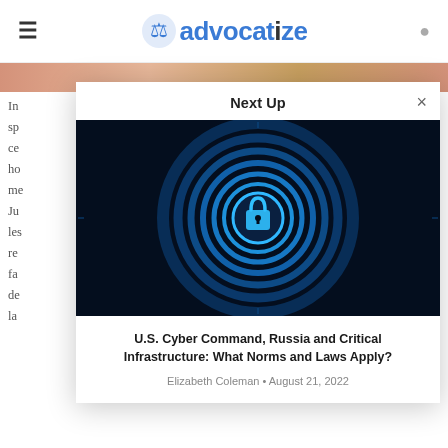advocatize
[Figure (photo): Hero image strip showing partial article header photo]
In
sp
ce
ho
me
Ju
les
re
fa
de
la
Next Up
[Figure (photo): Dark blue digital lock/padlock surrounded by concentric glowing blue circles on a dark background representing cybersecurity]
U.S. Cyber Command, Russia and Critical Infrastructure: What Norms and Laws Apply?
Elizabeth Coleman • August 21, 2022